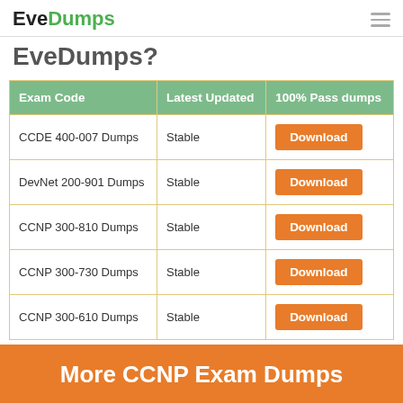EveDumps
EveDumps?
| Exam Code | Latest Updated | 100% Pass dumps |
| --- | --- | --- |
| CCDE 400-007 Dumps | Stable | Download |
| DevNet 200-901 Dumps | Stable | Download |
| CCNP 300-810 Dumps | Stable | Download |
| CCNP 300-730 Dumps | Stable | Download |
| CCNP 300-610 Dumps | Stable | Download |
More CCNP Exam Dumps